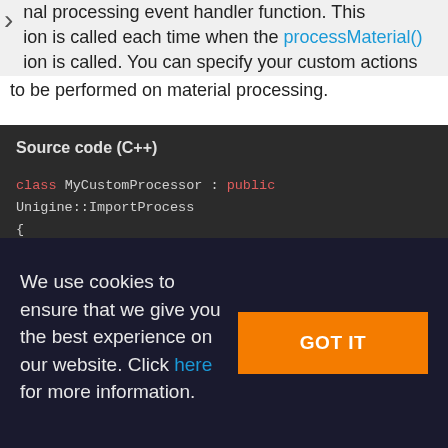nal processing event handler function. This ion is called each time when the processMaterial() ion is called. You can specify your custom actions to be performed on material processing.
[Figure (screenshot): Dark-themed code block titled 'Source code (C++)' showing C++ class definition: class MyCustomProcessor : public Unigine::ImportProcess { public: MyCustomProcessor(); virtual ~MyCustomProcessor();]
We use cookies to ensure that we give you the best experience on our website. Click here for more information.